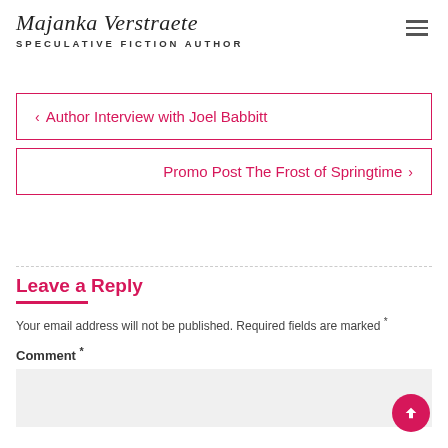Majanka Verstraete – SPECULATIVE FICTION AUTHOR
‹ Author Interview with Joel Babbitt
Promo Post The Frost of Springtime ›
Leave a Reply
Your email address will not be published. Required fields are marked *
Comment *